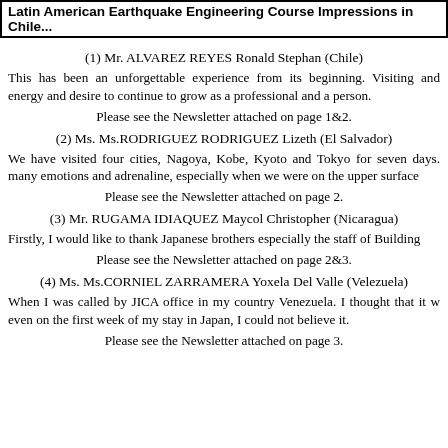Latin American Earthquake Engineering Course Impressions in Chile...
(1) Mr. ALVAREZ REYES Ronald Stephan (Chile)
This has been an unforgettable experience from its beginning. Visiting and energy and desire to continue to grow as a professional and a person.
Please see the Newsletter attached on page 1&2.
(2) Ms. Ms.RODRIGUEZ RODRIGUEZ Lizeth (El Salvador)
We have visited four cities, Nagoya, Kobe, Kyoto and Tokyo for seven days. many emotions and adrenaline, especially when we were on the upper surface
Please see the Newsletter attached on page 2.
(3) Mr. RUGAMA IDIAQUEZ Maycol Christopher (Nicaragua)
Firstly, I would like to thank Japanese brothers especially the staff of Building
Please see the Newsletter attached on page 2&3.
(4) Ms. Ms.CORNIEL ZARRAMERA Yoxela Del Valle (Velezuela)
When I was called by JICA office in my country Venezuela. I thought that it w even on the first week of my stay in Japan, I could not believe it.
Please see the Newsletter attached on page 3.